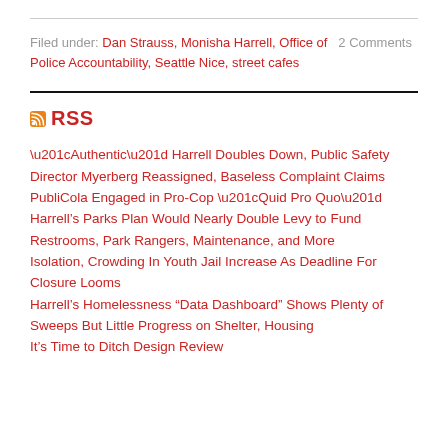Filed under: Dan Strauss, Monisha Harrell, Office of Police Accountability, Seattle Nice, street cafes   2 Comments
“Authentic” Harrell Doubles Down, Public Safety Director Myerberg Reassigned, Baseless Complaint Claims PubliCola Engaged in Pro-Cop “Quid Pro Quo”
Harrell’s Parks Plan Would Nearly Double Levy to Fund Restrooms, Park Rangers, Maintenance, and More
Isolation, Crowding In Youth Jail Increase As Deadline For Closure Looms
Harrell’s Homelessness “Data Dashboard” Shows Plenty of Sweeps But Little Progress on Shelter, Housing
It’s Time to Ditch Design Review